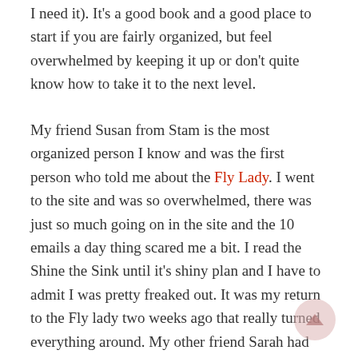I need it). It's a good book and a good place to start if you are fairly organized, but feel overwhelmed by keeping it up or don't quite know how to take it to the next level.
My friend Susan from Stam is the most organized person I know and was the first person who told me about the Fly Lady. I went to the site and was so overwhelmed, there was just so much going on in the site and the 10 emails a day thing scared me a bit. I read the Shine the Sink until it's shiny plan and I have to admit I was pretty freaked out. It was my return to the Fly lady two weeks ago that really turned everything around. My other friend Sarah had mentioned how she followed it, just not every bit of it. We talked about how there were a lot of good ideas for people looking for a home. Things like setting...